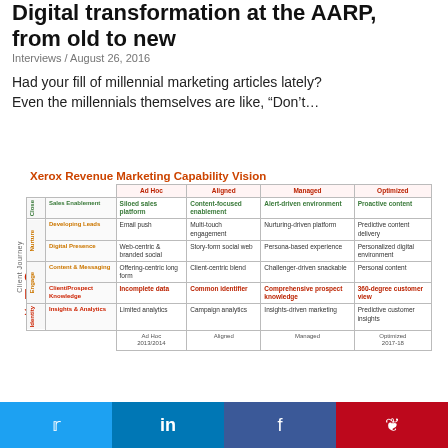Digital transformation at the AARP, from old to new
Interviews / August 26, 2016
Had your fill of millennial marketing articles lately? Even the millennials themselves are like, “Don’t…
Continue Reading »
[Figure (table-as-image): Xerox Revenue Marketing Capability Vision matrix showing Client Journey stages (Close, Nurture, Engage, Identity) against maturity levels (Ad Hoc 2013/2014, Aligned, Managed, Optimized 2017-18) with capability descriptions in each cell.]